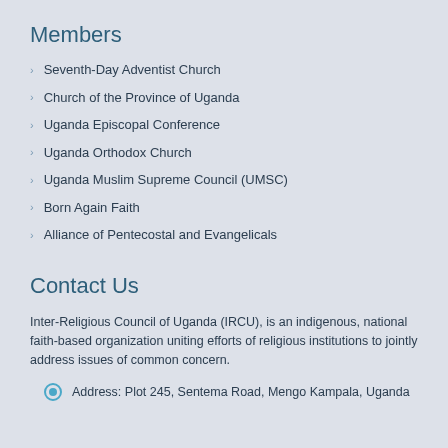Members
Seventh-Day Adventist Church
Church of the Province of Uganda
Uganda Episcopal Conference
Uganda Orthodox Church
Uganda Muslim Supreme Council (UMSC)
Born Again Faith
Alliance of Pentecostal and Evangelicals
Contact Us
Inter-Religious Council of Uganda (IRCU), is an indigenous, national faith-based organization uniting efforts of religious institutions to jointly address issues of common concern.
Address: Plot 245, Sentema Road, Mengo Kampala, Uganda